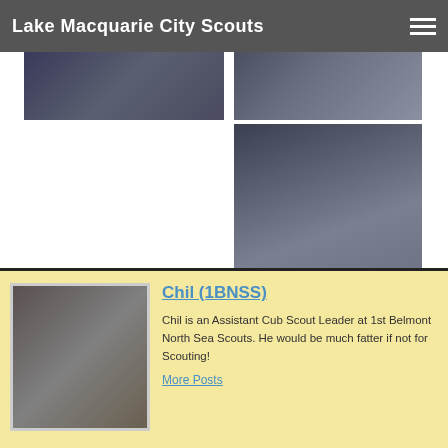Lake Macquarie City Scouts
[Figure (photo): Top-left photo showing scouts or crowd scene]
[Figure (photo): Top-right photo showing scouts or crowd scene]
[Figure (photo): Center photo showing scouts holding wreaths or floral arrangements at an outdoor event]
[Figure (photo): Photo of Chil, an Assistant Cub Scout Leader, walking on a street]
Chil (1BNSS)
Chil is an Assistant Cub Scout Leader at 1st Belmont North Sea Scouts. He would be much fatter if not for Scouting!
More Posts